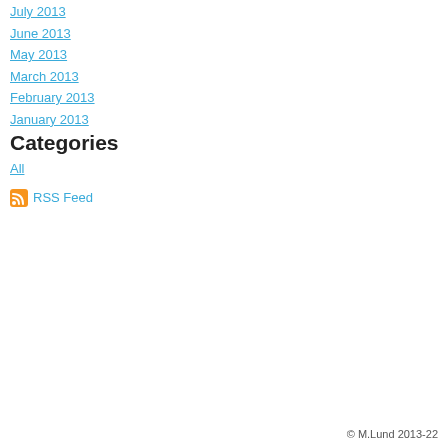July 2013
June 2013
May 2013
March 2013
February 2013
January 2013
Categories
All
RSS Feed
© M.Lund 2013-22